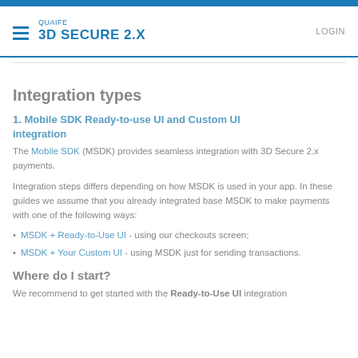QUAIFE 3D SECURE 2.X  LOGIN
Integration types
1. Mobile SDK Ready-to-use UI and Custom UI integration
The Mobile SDK (MSDK) provides seamless integration with 3D Secure 2.x payments.
Integration steps differs depending on how MSDK is used in your app. In these guides we assume that you already integrated base MSDK to make payments with one of the following ways:
MSDK + Ready-to-Use UI - using our checkouts screen;
MSDK + Your Custom UI - using MSDK just for sending transactions.
Where do I start?
We recommend to get started with the Ready-to-Use UI integration